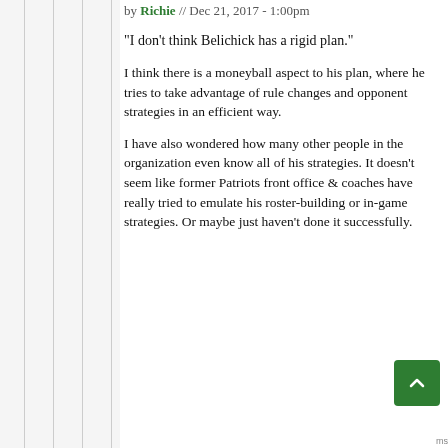by Richie // Dec 21, 2017 - 1:00pm
"I don't think Belichick has a rigid plan."
I think there is a moneyball aspect to his plan, where he tries to take advantage of rule changes and opponent strategies in an efficient way.
I have also wondered how many other people in the organization even know all of his strategies. It doesn't seem like former Patriots front office & coaches have really tried to emulate his roster-building or in-game strategies. Or maybe just haven't done it successfully.